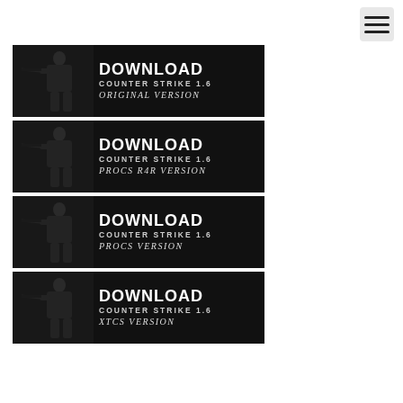[Figure (screenshot): Hamburger menu icon button in top right corner]
[Figure (screenshot): Download banner: DOWNLOAD COUNTER STRIKE 1.6 ORIGINAL VERSION with soldier silhouette on dark background]
[Figure (screenshot): Download banner: DOWNLOAD COUNTER STRIKE 1.6 PROCS R4R VERSION with soldier silhouette on dark background]
[Figure (screenshot): Download banner: DOWNLOAD COUNTER STRIKE 1.6 PROCS VERSION with soldier silhouette on dark background]
[Figure (screenshot): Download banner: DOWNLOAD COUNTER STRIKE 1.6 XTCS VERSION with soldier silhouette on dark background]